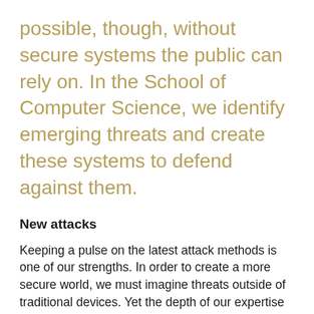possible, though, without secure systems the public can rely on. In the School of Computer Science, we identify emerging threats and create these systems to defend against them.
New attacks
Keeping a pulse on the latest attack methods is one of our strengths. In order to create a more secure world, we must imagine threats outside of traditional devices. Yet the depth of our expertise ensures we also stay on top traditional methods. By tracking all attacks, we can build the necessary solutions.
Internet of things (IoT) devices let us control the temperature of our home or track the food in our fridge from afar, but they are often built on simple software stacks. "All of these things were never meant to be